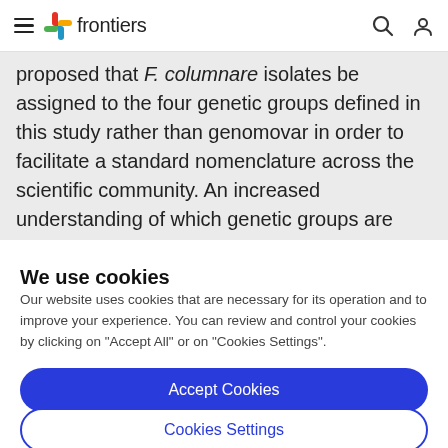frontiers
proposed that F. columnare isolates be assigned to the four genetic groups defined in this study rather than genomovar in order to facilitate a standard nomenclature across the scientific community. An increased understanding of which genetic groups are
We use cookies
Our website uses cookies that are necessary for its operation and to improve your experience. You can review and control your cookies by clicking on "Accept All" or on "Cookies Settings".
Accept Cookies
Cookies Settings